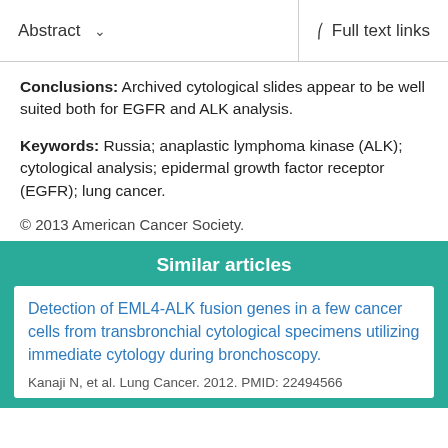Abstract   Full text links
Conclusions: Archived cytological slides appear to be well suited both for EGFR and ALK analysis.
Keywords: Russia; anaplastic lymphoma kinase (ALK); cytological analysis; epidermal growth factor receptor (EGFR); lung cancer.
© 2013 American Cancer Society.
Similar articles
Detection of EML4-ALK fusion genes in a few cancer cells from transbronchial cytological specimens utilizing immediate cytology during bronchoscopy.
Kanaji N, et al. Lung Cancer. 2012. PMID: 22494566